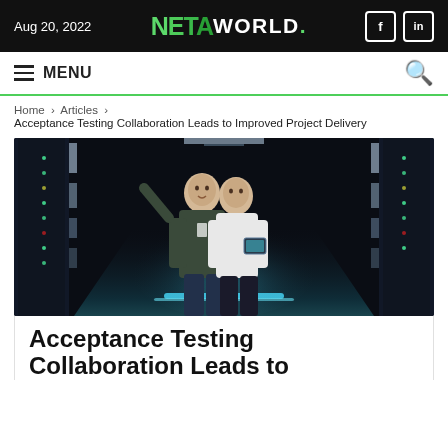Aug 20, 2022 | NETA WORLD
MENU
Home > Articles > Acceptance Testing Collaboration Leads to Improved Project Delivery
[Figure (photo): Two engineers (a man and a woman) walking through a dark server room corridor lined with illuminated server racks. The woman holds a tablet.]
Acceptance Testing Collaboration Leads to